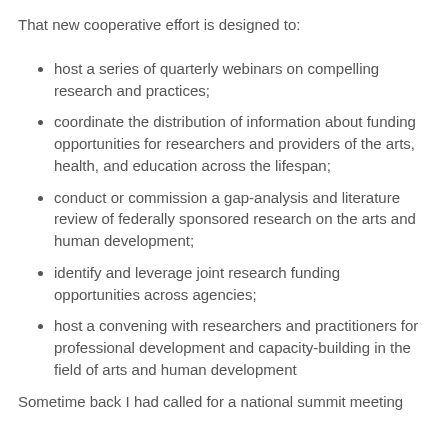That new cooperative effort is designed to:
host a series of quarterly webinars on compelling research and practices;
coordinate the distribution of information about funding opportunities for researchers and providers of the arts, health, and education across the lifespan;
conduct or commission a gap-analysis and literature review of federally sponsored research on the arts and human development;
identify and leverage joint research funding opportunities across agencies;
host a convening with researchers and practitioners for professional development and capacity-building in the field of arts and human development
Sometime back I had called for a national summit meeting